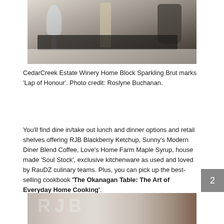[Figure (photo): Restaurant table setting with a sparkling wine glass, a wine bottle in an ice bucket, and dark placemats, representing CedarCreek Estate Winery Home Block Sparkling Brut.]
CedarCreek Estate Winery Home Block Sparkling Brut marks 'Lap of Honour'. Photo credit: Roslyne Buchanan.
You'll find dine in/take out lunch and dinner options and retail shelves offering RJB Blackberry Ketchup, Sunny's Modern Diner Blend Coffee, Love's Home Farm Maple Syrup, house made 'Soul Stock', exclusive kitchenware as used and loved by RauDZ culinary teams. Plus, you can pick up the best-selling cookbook 'The Okanagan Table: The Art of Everyday Home Cooking'.
[Figure (photo): Partial view of a restaurant interior, showing signage or decor in the lower portion of the page.]